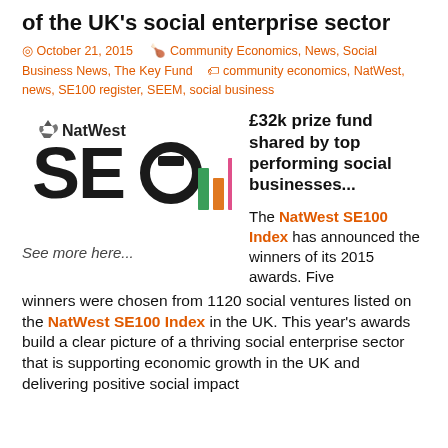of the UK's social enterprise sector
October 21, 2015   Community Economics, News, Social Business News, The Key Fund   community economics, NatWest, news, SE100 register, SEEM, social business
[Figure (logo): NatWest SE100 Index logo with bar chart graphic in green, orange, and pink]
See more here...
£32k prize fund shared by top performing social businesses...
The NatWest SE100 Index has announced the winners of its 2015 awards. Five winners were chosen from 1120 social ventures listed on the NatWest SE100 Index in the UK. This year's awards build a clear picture of a thriving social enterprise sector that is supporting economic growth in the UK and delivering positive social impact